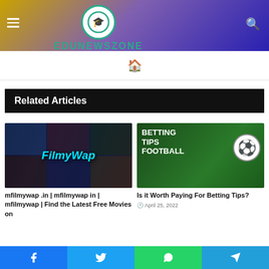EDUNEWSZONE
Related Articles
[Figure (photo): FilmyWap movie collage thumbnail with text overlay 'FilmyWap']
mfilmywap .in | mfilmywap in | mfilmywap | Find the Latest Free Movies on
[Figure (photo): Betting Tips Football thumbnail with football graphic on green background]
Is it Worth Paying For Betting Tips?
April 25, 2022
Facebook Twitter WhatsApp Telegram